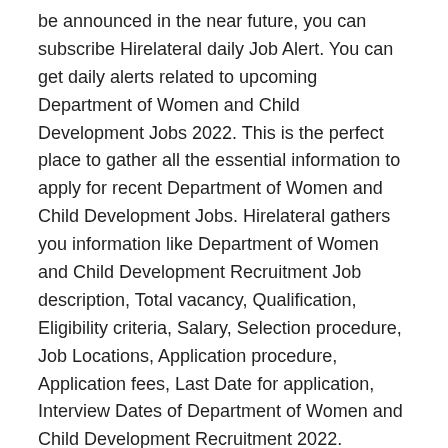be announced in the near future, you can subscribe Hirelateral daily Job Alert. You can get daily alerts related to upcoming Department of Women and Child Development Jobs 2022. This is the perfect place to gather all the essential information to apply for recent Department of Women and Child Development Jobs. Hirelateral gathers you information like Department of Women and Child Development Recruitment Job description, Total vacancy, Qualification, Eligibility criteria, Salary, Selection procedure, Job Locations, Application procedure, Application fees, Last Date for application, Interview Dates of Department of Women and Child Development Recruitment 2022.